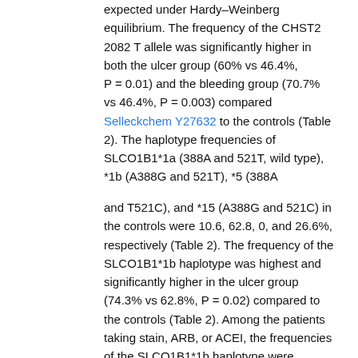expected under Hardy–Weinberg equilibrium. The frequency of the CHST2 2082 T allele was significantly higher in both the ulcer group (60% vs 46.4%, P = 0.01) and the bleeding group (70.7% vs 46.4%, P = 0.003) compared Selleckchem Y27632 to the controls (Table 2). The haplotype frequencies of SLCO1B1*1a (388A and 521T, wild type), *1b (A388G and 521T), *5 (388A
and T521C), and *15 (A388G and 521C) in the controls were 10.6, 62.8, 0, and 26.6%, respectively (Table 2). The frequency of the SLCO1B1*1b haplotype was highest and significantly higher in the ulcer group (74.3% vs 62.8%, P = 0.02) compared to the controls (Table 2). Among the patients taking stain, ARB, or ACEI, the frequencies of the SLCO1B1*1b haplotype were significantly higher not only in the ulcer group (77.9% vs 63.1%, P = 0.02) but also in the bleeding group (87.1% vs 63.1%, P = 0.006) [Thai link] compared to the controls (Table 3). History of PU (adjusted OR 2.52, 95% CI 1.39–4.55), chronic renal failure (7.63, 2.34–24.9), cotreatment with NSAIDs (6.62, 2.63–16.7), anti-acid (0.18, 0.11–0.31), and SLCO1B1*1b (2.20, 1.24–3.89) were significantly associated with ulcer